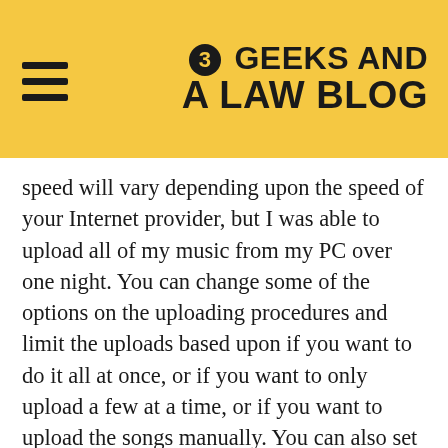3 GEEKS AND A LAW BLOG
speed will vary depending upon the speed of your Internet provider, but I was able to upload all of my music from my PC over one night. You can change some of the options on the uploading procedures and limit the uploads based upon if you want to do it all at once, or if you want to only upload a few at a time, or if you want to upload the songs manually. You can also set how you want the Music Manager to use your Bandwidth. You can also have Music Manager start when your computer is restarted, and it will upload any new music you add to your collection automatically. During the install of the Music Manager, you are also given an opportunity to